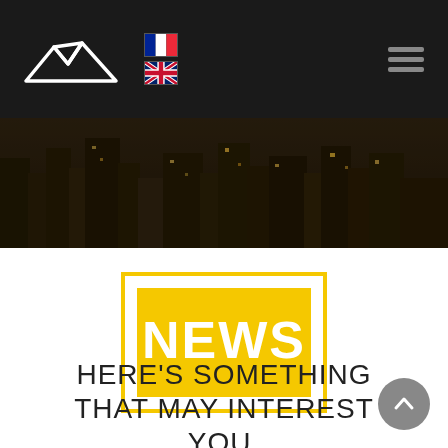[Figure (logo): Maitrico logo with mountain-like graphic and text MAITRICO on dark header bar, with French and UK flag icons and a hamburger menu icon]
[Figure (photo): Dark atmospheric cityscape hero banner image showing illuminated buildings and urban landscape at night]
[Figure (infographic): Yellow rectangle badge with white bold text NEWS inside, bordered by a yellow outline rectangle frame]
HERE'S SOMETHING THAT MAY INTEREST YOU.
[Figure (other): Grey circular back-to-top button with upward chevron arrow, bottom right corner]